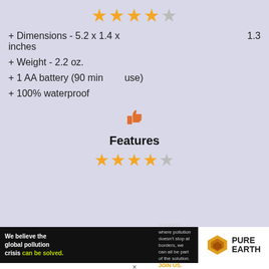[Figure (other): 4.5 star rating (5 gold stars, last one half/grey) displayed at top]
+ Dimensions - 5.2 x 1.4 x 1.3 inches
+ Weight - 2.2 oz.
+ 1 AA battery (90 min use)
+ 100% waterproof
[Figure (illustration): Orange thumbs up emoji icon]
Features
[Figure (other): 4.5 star rating displayed below Features heading]
[Figure (other): Pure Earth advertisement banner: 'We believe the global pollution crisis can be solved. In a world where pollution doesn't stop at borders, we can all be part of the solution. JOIN US.' with Pure Earth logo]